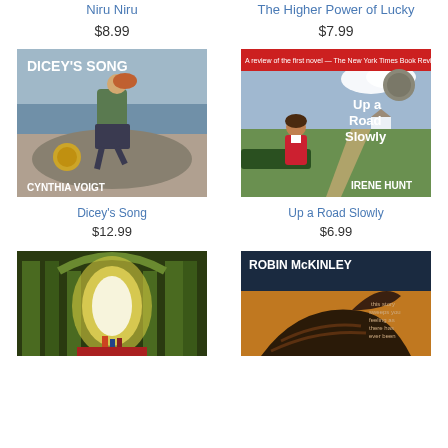Niru Niru
$8.99
The Higher Power of Lucky
$7.99
[Figure (photo): Book cover of Dicey's Song by Cynthia Voigt showing a person sitting on a rock by the ocean with a Newbery Medal]
Dicey's Song
$12.99
[Figure (photo): Book cover of Up a Road Slowly by Irene Hunt showing a girl sitting on a fence in a rural setting]
Up a Road Slowly
$6.99
[Figure (photo): Book cover showing an arched hallway with green columns and light at the end with small figures]
[Figure (photo): Book cover by Robin McKinley showing a dragon or creature]